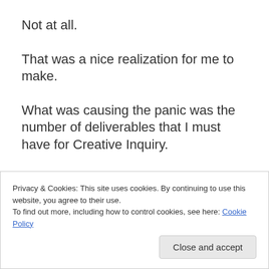Not at all.
That was a nice realization for me to make.
What was causing the panic was the number of deliverables that I must have for Creative Inquiry.
8 papers.
8!
And though some of them are short, I have a couple that
Privacy & Cookies: This site uses cookies. By continuing to use this website, you agree to their use.
To find out more, including how to control cookies, see here: Cookie Policy